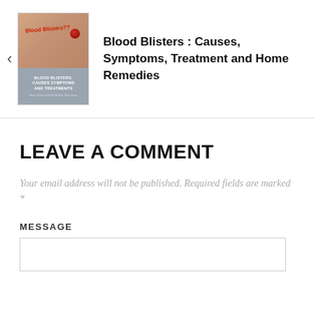[Figure (illustration): Book cover thumbnail showing Blood Blisters book with red blister image on skin background and title text]
Blood Blisters : Causes, Symptoms, Treatment and Home Remedies
LEAVE A COMMENT
Your email address will not be published. Required fields are marked *
MESSAGE